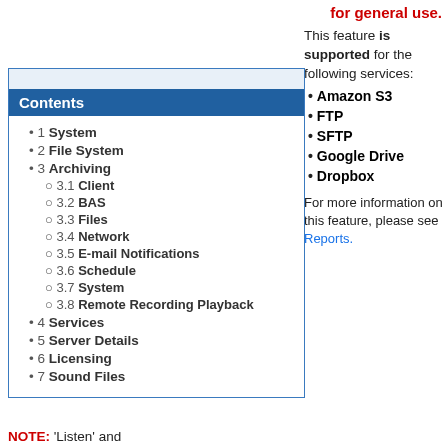for general use.
This feature is supported for the following services:
Contents
1 System
2 File System
3 Archiving
3.1 Client
3.2 BAS
3.3 Files
3.4 Network
3.5 E-mail Notifications
3.6 Schedule
3.7 System
3.8 Remote Recording Playback
4 Services
5 Server Details
6 Licensing
7 Sound Files
Amazon S3
FTP
SFTP
Google Drive
Dropbox
For more information on this feature, please see Reports.
NOTE: 'Listen' and